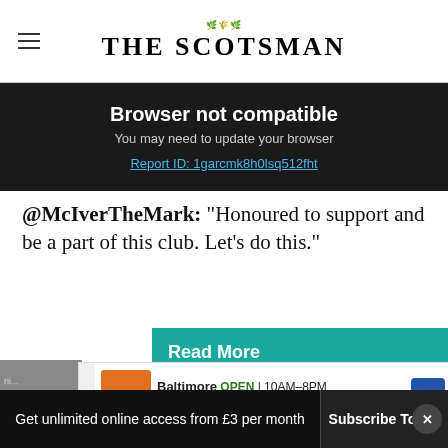THE SCOTSMAN
Browser not compatible
You may need to update your browser
Report ID: 1garcmk8h0lsq512fht
@McIverTheMark: “Honoured to support and be a part of this club. Let’s do this.”
Read More
Hearts launch legal action
[Figure (screenshot): Advertisement banner: Boost Mobile, Baltimore, OPEN 10AM-8PM, 2650 W Patapsco Avenue, Unit E, Balti...]
relegation
Get unlimited online access from £3 per month | Subscribe Today